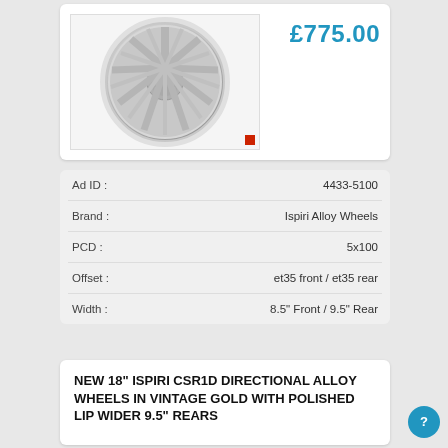[Figure (photo): Silver alloy wheel with multi-spoke design, shown at an angle against white background]
£775.00
| Field | Value |
| --- | --- |
| Ad ID : | 4433-5100 |
| Brand : | Ispiri Alloy Wheels |
| PCD : | 5x100 |
| Offset : | et35 front / et35 rear |
| Width : | 8.5" Front / 9.5" Rear |
NEW 18" ISPIRI CSR1D DIRECTIONAL ALLOY WHEELS IN VINTAGE GOLD WITH POLISHED LIP WIDER 9.5" REARS 195/55